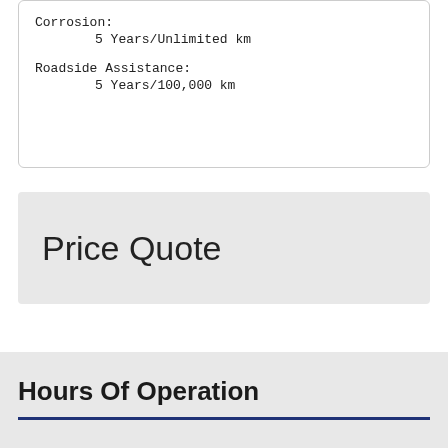Corrosion:
        5 Years/Unlimited km

Roadside Assistance:
        5 Years/100,000 km
Price Quote
Hours Of Operation